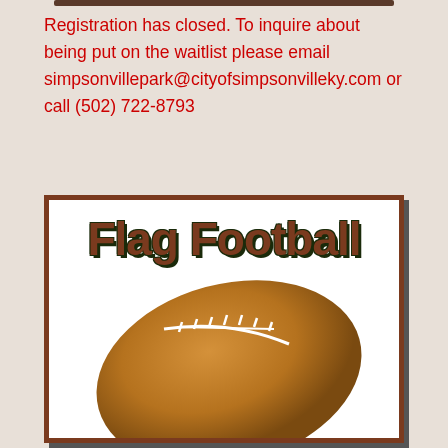Registration has closed. To inquire about being put on the waitlist please email simpsonvillepark@cityofsimpsonvilleky.com or call (502) 722-8793
[Figure (illustration): Flag Football flyer with large brown text 'Flag Football' and a brown football illustration on a white background with brown border]